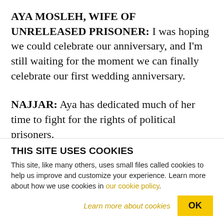AYA MOSLEH, WIFE OF UNRELEASED PRISONER: I was hoping we could celebrate our anniversary, and I'm still waiting for the moment we can finally celebrate our first wedding anniversary.
NAJJAR: Aya has dedicated much of her time to fight for the rights of political prisoners.
MOSLEH: Oftentimes when I used to visit Salama, I think if we would have had a child, he wouldn't have had a chance to know him. So when he asks me how
THIS SITE USES COOKIES
This site, like many others, uses small files called cookies to help us improve and customize your experience. Learn more about how we use cookies in our cookie policy.
Learn more about cookies
OK